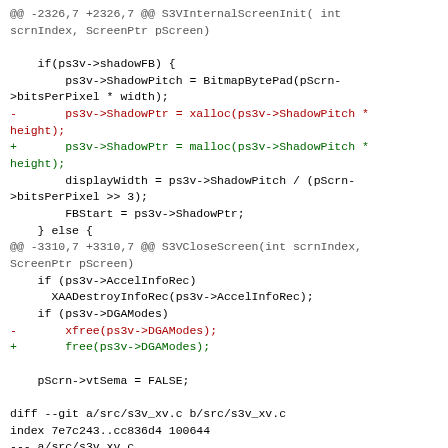@@ -2326,7 +2326,7 @@ S3VInternalScreenInit( int scrnIndex, ScreenPtr pScreen)

    if(ps3v->shadowFB) {
        ps3v->ShadowPitch = BitmapBytePad(pScrn->bitsPerPixel * width);
-       ps3v->ShadowPtr = xalloc(ps3v->ShadowPitch * height);
+       ps3v->ShadowPtr = malloc(ps3v->ShadowPitch * height);
        displayWidth = ps3v->ShadowPitch / (pScrn->bitsPerPixel >> 3);
        FBStart = ps3v->ShadowPtr;
    } else {
@@ -3310,7 +3310,7 @@ S3VCloseScreen(int scrnIndex, ScreenPtr pScreen)
    if (ps3v->AccelInfoRec)
      XAADestroyInfoRec(ps3v->AccelInfoRec);
    if (ps3v->DGAModes)
-       xfree(ps3v->DGAModes);
+       free(ps3v->DGAModes);

    pScrn->vtSema = FALSE;

diff --git a/src/s3v_xv.c b/src/s3v_xv.c
index 7e7c243..cc836d4 100644
--- a/src/s3v_xv.c
+++ b/src/s3v_xv.c
@@ -137,7 +137,7 @@ void S3VInitVideo(ScreenPtr pScreen)
        adapters = &myAdapter;